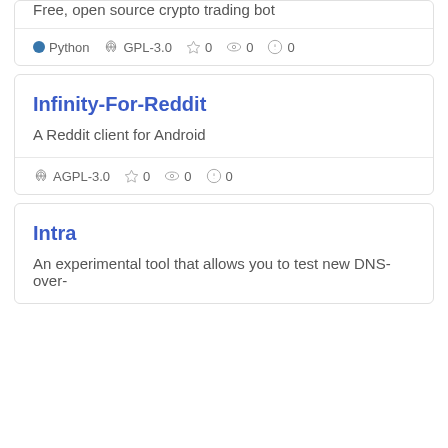Free, open source crypto trading bot
Python  GPL-3.0  ☆ 0  👁 0  ⚠ 0
Infinity-For-Reddit
A Reddit client for Android
AGPL-3.0  ☆ 0  👁 0  ⚠ 0
Intra
An experimental tool that allows you to test new DNS-over-